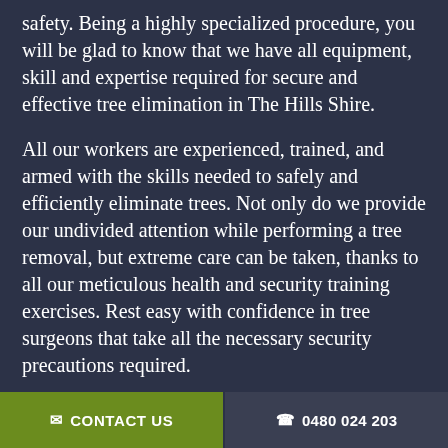safety. Being a highly specialized procedure, you will be glad to know that we have all equipment, skill and expertise required for secure and effective tree elimination in The Hills Shire.
All our workers are experienced, trained, and armed with the skills needed to safely and efficiently eliminate trees. Not only do we provide our undivided attention while performing a tree removal, but extreme care can be taken, thanks to all our meticulous health and security training exercises. Rest easy with confidence in tree surgeons that take all the necessary security precautions required.
tree removal is a renowned cause of injury, and in rare cases, fatal accidents. That is why The Hills Shire Arborist prioritizes security above all,
✉ CONTACT US   ☎ 0480 024 203